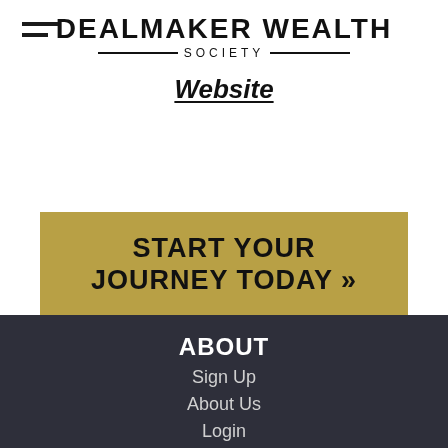DEALMAKER WEALTH SOCIETY
Website
START YOUR JOURNEY TODAY »
ABOUT
Sign Up
About Us
Login
HELP
My Account
Unsubscribe